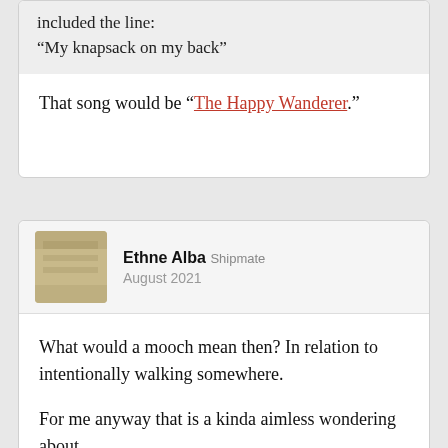included the line:
"My knapsack on my back"
That song would be “The Happy Wanderer.”
Ethne Alba Shipmate
August 2021
What would a mooch mean then? In relation to intentionally walking somewhere.

For me anyway that is a kinda aimless wondering about